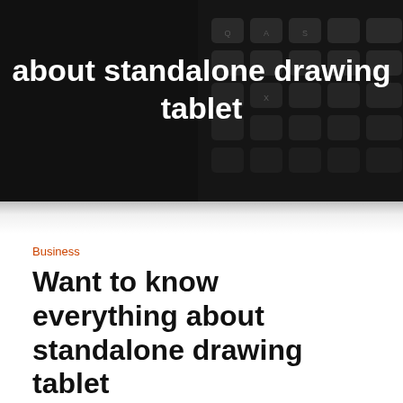[Figure (photo): Dark background image showing a black keyboard with dark keys, used as hero banner background. White bold text overlaid reading 'about standalone drawing tablet'.]
Business
Want to know everything about standalone drawing tablet
By Sophia • January 29, 2021 • 0